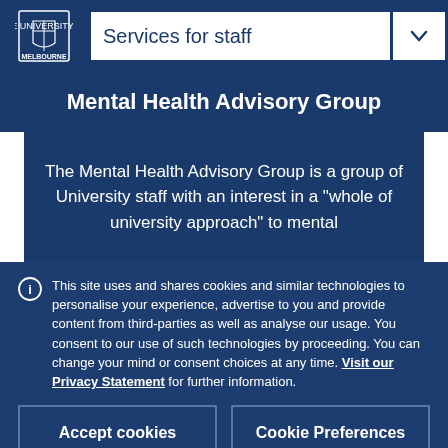Services for staff
Mental Health Advisory Group
The Mental Health Advisory Group is a group of University staff with an interest in a “whole of university approach” to mental
This site uses and shares cookies and similar technologies to personalise your experience, advertise to you and provide content from third-parties as well as analyse our usage. You consent to our use of such technologies by proceeding. You can change your mind or consent choices at any time. Visit our Privacy Statement for further information.
Accept cookies
Cookie Preferences